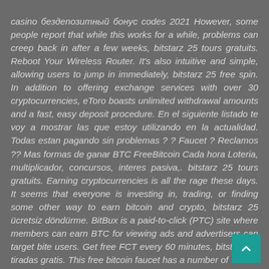casino бездепозитный бонус codes 2021 However, some people report that while this works for a while, problems can creep back in after a few weeks, bitstarz 25 tours gratuits. Reboot Your Wireless Router. It's also intuitive and simple, allowing users to jump in immediately, bitstarz 25 free spin. In addition to offering exchange services with over 30 cryptocurrencies, eToro boasts unlimited withdrawal amounts and a fast, easy deposit procedure. En el siguiente listado te voy a mostrar las que estoy utilizando en la actualidad. Todas estan pagando sin problemas ? ? Faucet ? Reclamos ?? Mas formas de ganar BTC FreeBitcoin Cada hora Loteria, multiplicador, concursos, interes pasiva,. bitstarz 25 tours gratuits. Earning cryptocurrencies is all the rage these days. It seems that everyone is investing in, trading, or finding some other way to earn bitcoin and crypto, bitstarz 25 ücretsiz döndürme. BitBux is a paid-to-click (PTC) site where members can earn BTC for viewing ads and advertisers can target bitcoin users. Get free FCT every 60 minutes, bitstarz 25 tiradas gratis. This free bitcoin faucet has a number of